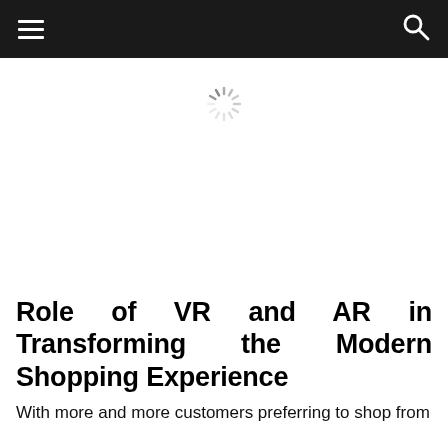[Figure (other): Loading spinner (animated radial lines) indicating content is loading]
Role of VR and AR in Transforming the Modern Shopping Experience
With more and more customers preferring to shop from